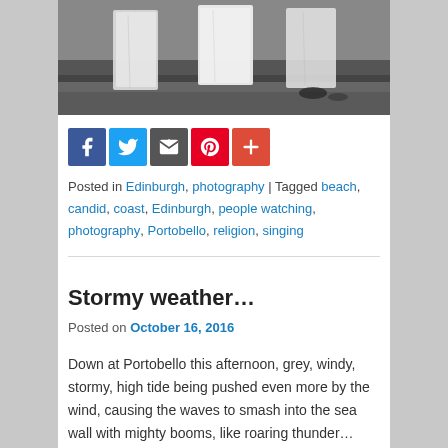[Figure (photo): Black and white photograph of people in white robes/dresses standing on a sandy beach, lower body visible only]
Posted in Edinburgh, photography | Tagged beach, candid, coast, Edinburgh, people watching, photography, Portobello, religion, singing
Stormy weather…
Posted on October 16, 2016
Down at Portobello this afternoon, grey, windy, stormy, high tide being pushed even more by the wind, causing the waves to smash into the sea wall with mighty booms, like roaring thunder…